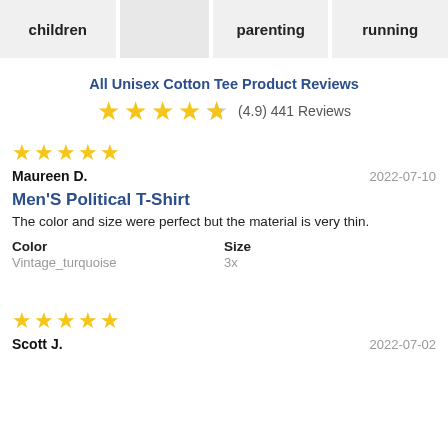children | [blank] | parenting | running
All Unisex Cotton Tee Product Reviews
(4.9) 441 Reviews
★★★★★ — 5 stars
Maureen D.    2022-07-10
Men&#X27;S Political T-Shirt
The color and size were perfect but the material is very thin.
Color: Vintage_turquoise   Size: 3x
★★★★★ — 5 stars
Scott J.    2022-07-02